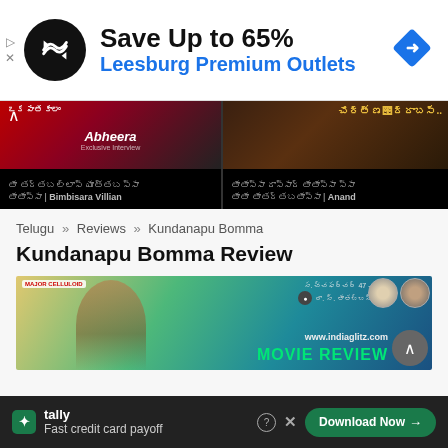[Figure (screenshot): Top advertisement banner: black circular logo with infinity/arrows icon, text 'Save Up to 65%' in bold black, 'Leesburg Premium Outlets' in blue, blue diamond navigation icon on right]
[Figure (screenshot): Video carousel strip with two video thumbnails on dark background. Left: Bimbisara Villian. Right: Anand. Up arrow chevron visible top left.]
Telugu » Reviews » Kundanapu Bomma
Kundanapu Bomma Review
[Figure (photo): Movie poster/review image for Kundanapu Bomma showing actor against decorative background with 'MOVIE REVIEW' text in green, www.indiaglitz.com watermark, and scroll-up circular button.]
[Figure (screenshot): Bottom advertisement for Tally app: 'Fast credit card payoff' with green Download Now button and close/help icons]